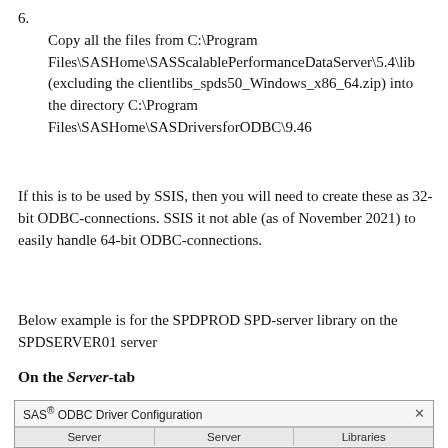6. Copy all the files from C:\Program Files\SASHome\SASScalablePerformanceDataServer\5.4\lib (excluding the clientlibs_spds50_Windows_x86_64.zip) into the directory C:\Program Files\SASHome\SASDriversforODBC\9.46
If this is to be used by SSIS, then you will need to create these as 32-bit ODBC-connections. SSIS it not able (as of November 2021) to easily handle 64-bit ODBC-connections.
Below example is for the SPDPROD SPD-server library on the SPDSERVER01 server
On the Server-tab
[Figure (screenshot): SAS ODBC Driver Configuration dialog box showing title bar with close button and tabs: Server, Server, Libraries]